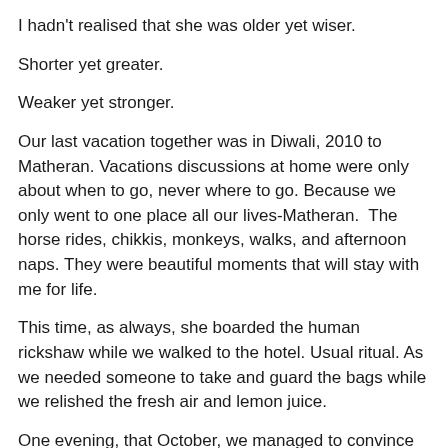I hadn't realised that she was older yet wiser.
Shorter yet greater.
Weaker yet stronger.
Our last vacation together was in Diwali, 2010 to Matheran. Vacations discussions at home were only about when to go, never where to go. Because we only went to one place all our lives-Matheran.  The horse rides, chikkis, monkeys, walks, and afternoon naps. They were beautiful moments that will stay with me for life.
This time, as always, she boarded the human rickshaw while we walked to the hotel. Usual ritual. As we needed someone to take and guard the bags while we relished the fresh air and lemon juice.
One evening, that October, we managed to convince her to come along with us to the lake. The weather was pleasantly sunny and windy. We managed to reach the lake just by sunset, when suddenly the weather did a volte face. Literally.